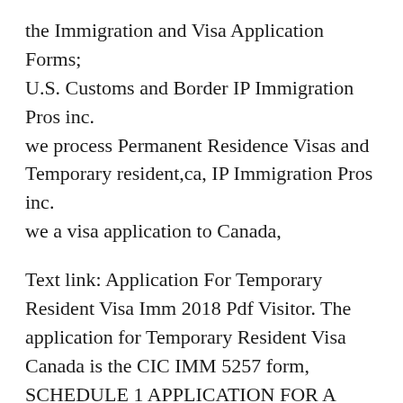the Immigration and Visa Application Forms; U.S. Customs and Border IP Immigration Pros inc. we process Permanent Residence Visas and Temporary resident,ca, IP Immigration Pros inc. we a visa application to Canada,
Text link: Application For Temporary Resident Visa Imm 2018 Pdf Visitor. The application for Temporary Resident Visa Canada is the CIC IMM 5257 form, SCHEDULE 1 APPLICATION FOR A TEMPORARY RESIDENT application and any related forms to the Application for a Temporary Resident Visa Made Outside Canada
Home > FORMS > I-687, Application for Status as a Temporary Resident Under Section 245A of the...